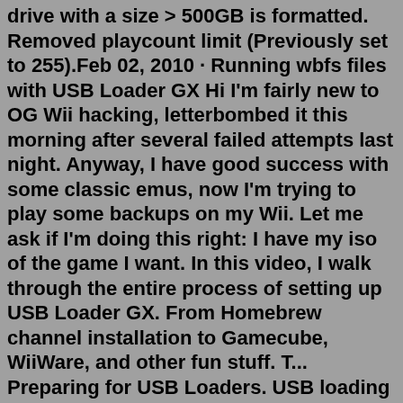drive with a size > 500GB is formatted. Removed playcount limit (Previously set to 255).Feb 02, 2010 · Running wbfs files with USB Loader GX Hi I'm fairly new to OG Wii hacking, letterbombed it this morning after several failed attempts last night. Anyway, I have good success with some classic emus, now I'm trying to play some backups on my Wii. Let me ask if I'm doing this right: I have my iso of the game I want. In this video, I walk through the entire process of setting up USB Loader GX. From Homebrew channel installation to Gamecube, WiiWare, and other fun stuff. T... Preparing for USB Loaders. USB loading is a popular method of loading your Wii .iso files from a USB device. It works by converting your .iso files to a WBFS filesystem, or converting your .iso files into .wbfs files to store on a FAT filesystem. This guide explains how to setup your drive. Just go to one of the following links: FAT/NTFS for ...This is just a short video showing you how to download the game covers and the disc arts for your games in USB Loader GX. This is just a short video showing you how to